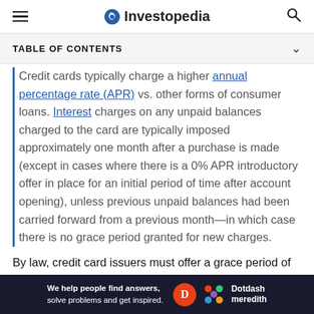Investopedia
TABLE OF CONTENTS
Credit cards typically charge a higher annual percentage rate (APR) vs. other forms of consumer loans. Interest charges on any unpaid balances charged to the card are typically imposed approximately one month after a purchase is made (except in cases where there is a 0% APR introductory offer in place for an initial period of time after account opening), unless previous unpaid balances had been carried forward from a previous month—in which case there is no grace period granted for new charges.
By law, credit card issuers must offer a grace period of
[Figure (other): Dotdash Meredith advertisement banner: 'We help people find answers, solve problems and get inspired.' with Dotdash Meredith logo]